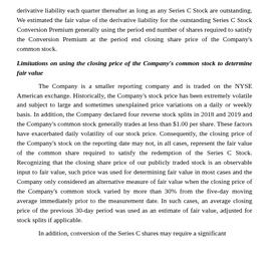derivative liability each quarter thereafter as long as any Series C Stock are outstanding. We estimated the fair value of the derivative liability for the outstanding Series C Stock Conversion Premium generally using the period end number of shares required to satisfy the Conversion Premium at the period end closing share price of the Company's common stock.
Limitations on using the closing price of the Company's common stock to determine fair value
The Company is a smaller reporting company and is traded on the NYSE American exchange. Historically, the Company's stock price has been extremely volatile and subject to large and sometimes unexplained price variations on a daily or weekly basis. In addition, the Company declared four reverse stock splits in 2018 and 2019 and the Company's common stock generally trades at less than $1.00 per share. These factors have exacerbated daily volatility of our stock price. Consequently, the closing price of the Company's stock on the reporting date may not, in all cases, represent the fair value of the common share required to satisfy the redemption of the Series C Stock. Recognizing that the closing share price of our publicly traded stock is an observable input to fair value, such price was used for determining fair value in most cases and the Company only considered an alternative measure of fair value when the closing price of the Company's common stock varied by more than 30% from the five-day moving average immediately prior to the measurement date. In such cases, an average closing price of the previous 30-day period was used as an estimate of fair value, adjusted for stock splits if applicable.
In addition, conversion of the Series C shares may require a significant